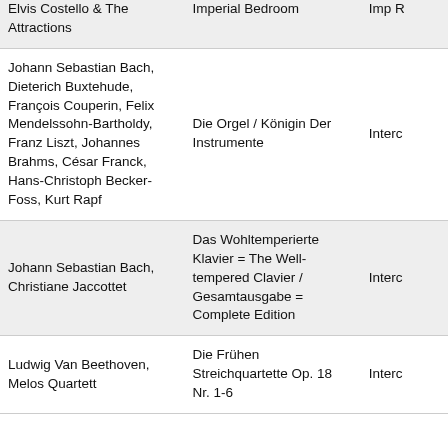| Artist/Composer | Album/Title | Label |
| --- | --- | --- |
| Elvis Costello & The Attractions | Imperial Bedroom | Imp R |
| Johann Sebastian Bach, Dieterich Buxtehude, François Couperin, Felix Mendelssohn-Bartholdy, Franz Liszt, Johannes Brahms, César Franck, Hans-Christoph Becker-Foss, Kurt Rapf | Die Orgel / Königin Der Instrumente | Interc |
| Johann Sebastian Bach, Christiane Jaccottet | Das Wohltemperierte Klavier = The Well-tempered Clavier / Gesamtausgabe = Complete Edition | Interc |
| Ludwig Van Beethoven, Melos Quartett | Die Frühen Streichquartette Op. 18 Nr. 1-6 | Interc |